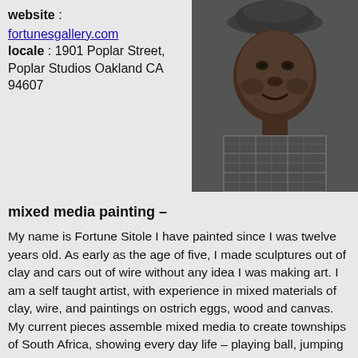website : fortunesgallery.com
locale : 1901 Poplar Street, Poplar Studios Oakland CA 94607
[Figure (photo): Black and white portrait photo of Fortune Sitole, a man wearing a hat and plaid shirt, smiling at the camera]
mixed media painting –
My name is Fortune Sitole I have painted since I was twelve years old. As early as the age of five, I made sculptures out of clay and cars out of wire without any idea I was making art. I am a self taught artist, with experience in mixed materials of clay, wire, and paintings on ostrich eggs, wood and canvas. My current pieces assemble mixed media to create townships of South Africa, showing every day life – playing ball, jumping rope, walking to school, washing, music and dancing. I use wood, sand, aluminum, oil and acrylic paint, sticks, bottle caps and other objects. I use all recycled materials and my work has been categorized as Folk Art, Raw Art,